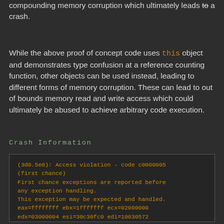compounding memory corruption which ultimately leads to a crash.
While the above proof of concept code uses this object and demonstrates type confusion at a reference counting function, other objects can be used instead, leading to different forms of memory corruption. These can lead to out of bounds memory read and write access which could ultimately be abused to achieve arbitrary code execution.
Crash Information
(3d0.5e0): Access violation - code c0000005 (first chance)
First chance exceptions are reported before any exception handling.
This exception may be expected and handled.
eax=ffffffff ebx=1fffffff ecx=02000000
edx=03000004 esi=30c30fc0 edi=10030572